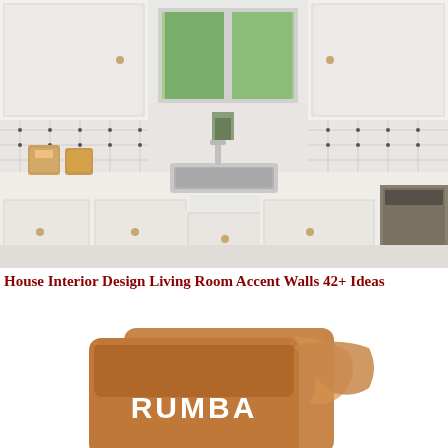[Figure (photo): White kitchen interior with L-shaped layout, stainless steel sink at corner, white shaker cabinets, marble tile backsplash with small dark dot accents, white quartz countertops, gold hardware, glass jars with orange contents on counter, window above sink with green trees visible outside]
House Interior Design Living Room Accent Walls 42+ Ideas
[Figure (photo): Paint color swatch cards showing a warm terracotta/copper orange color with the text 'RUMBA' in white letters on the front swatch, with a second swatch slightly behind it showing a lighter version of the same color]